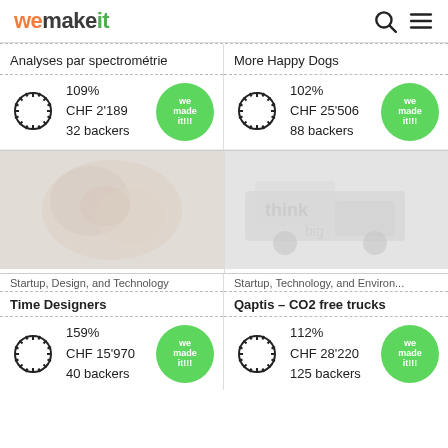wemakeit
Analyses par spectrométrie
109%
CHF 2'189
32 backers
More Happy Dogs
102%
CHF 25'506
88 backers
[Figure (photo): Food/donut photograph with light wash]
Startup, Design, and Technology
Time Designers
159%
CHF 15'970
40 backers
[Figure (photo): Truck/vehicle photograph with light wash]
Startup, Technology, and Environ...
Qaptis – CO2 free trucks
112%
CHF 28'220
125 backers